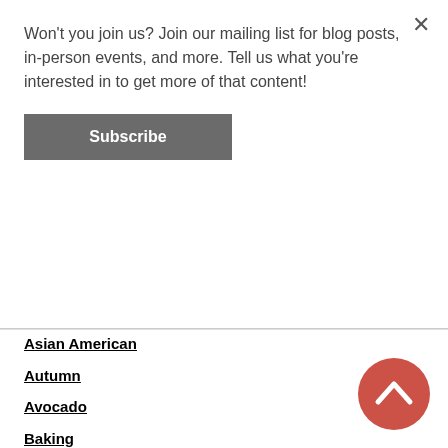Won't you join us? Join our mailing list for blog posts, in-person events, and more. Tell us what you're interested in to get more of that content!
Subscribe
Asian American
Autumn
Avocado
Baking
Beverages
Birthdays
Black History
Black History Month
Book Review
Bread
Breakfast
Breakfast Cereals